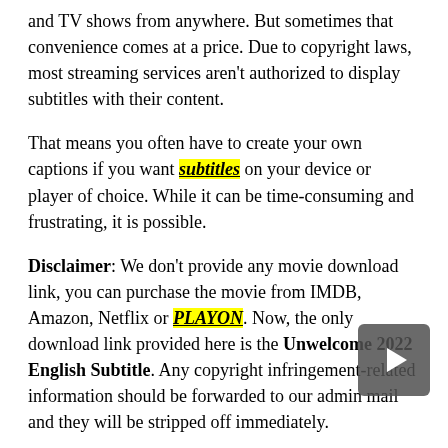and TV shows from anywhere. But sometimes that convenience comes at a price. Due to copyright laws, most streaming services aren't authorized to display subtitles with their content.
That means you often have to create your own captions if you want subtitles on your device or player of choice. While it can be time-consuming and frustrating, it is possible.
Disclaimer: We don't provide any movie download link, you can purchase the movie from IMDB, Amazon, Netflix or PLAYON. Now, the only download link provided here is the Unwelcome 2022 English Subtitle. Any copyright infringement-related information should be forwarded to our admin mail and they will be stripped off immediately.
And there are some great subtitle apps that will help you do just that! Some of these apps let you download Unwelcome sub eng 2022 subtitles right